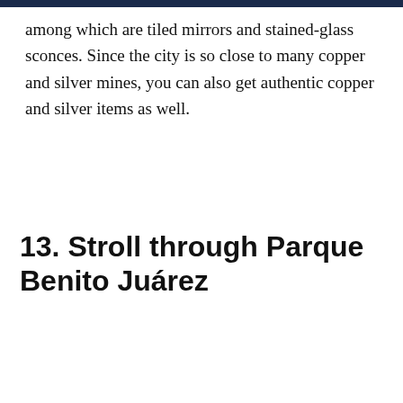among which are tiled mirrors and stained-glass sconces. Since the city is so close to many copper and silver mines, you can also get authentic copper and silver items as well.
13. Stroll through Parque Benito Juárez